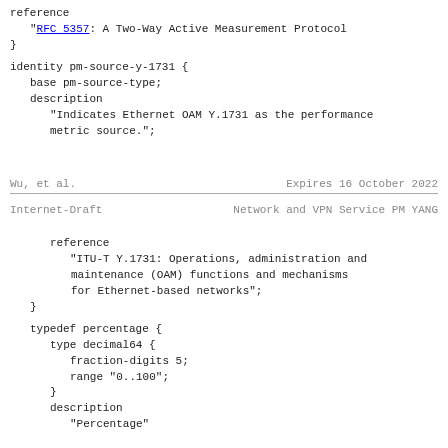reference
    "RFC 5357: A Two-Way Active Measurement Protocol
}
identity pm-source-y-1731 {
  base pm-source-type;
  description
    "Indicates Ethernet OAM Y.1731 as the performance
    metric source.";
Wu, et al.                    Expires 16 October 2022
Internet-Draft        Network and VPN Service PM YANG
reference
    "ITU-T Y.1731: Operations, administration and
    maintenance (OAM) functions and mechanisms
    for Ethernet-based networks";
}
typedef percentage {
  type decimal64 {
    fraction-digits 5;
    range "0..100";
  }
  description
    "Percentage"